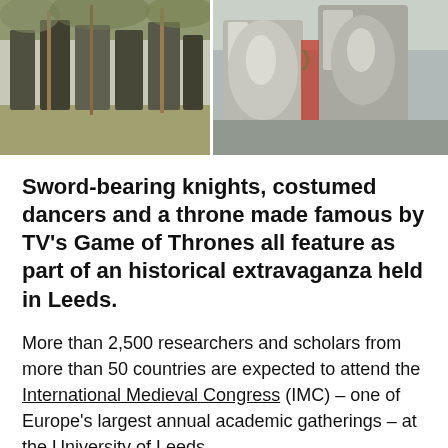[Figure (photo): Two side-by-side photos of people in medieval knight armor and costumes outdoors]
Sword-bearing knights, costumed dancers and a throne made famous by TV's Game of Thrones all feature as part of an historical extravaganza held in Leeds.
More than 2,500 researchers and scholars from more than 50 countries are expected to attend the International Medieval Congress (IMC) – one of Europe's largest annual academic gatherings – at the University of Leeds.
Public events